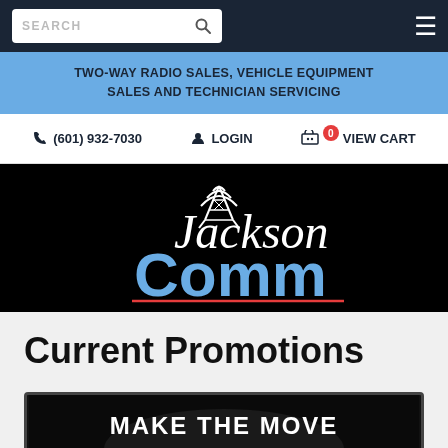SEARCH  (601) 932-7030  LOGIN  0 VIEW CART
TWO-WAY RADIO SALES, VEHICLE EQUIPMENT SALES AND TECHNICIAN SERVICING
[Figure (logo): Jackson Comm / Jackson Communications logo with radio tower graphic, white and blue text on black background]
Current Promotions
[Figure (photo): Promotional banner with text MAKE THE MOVE on dark background]